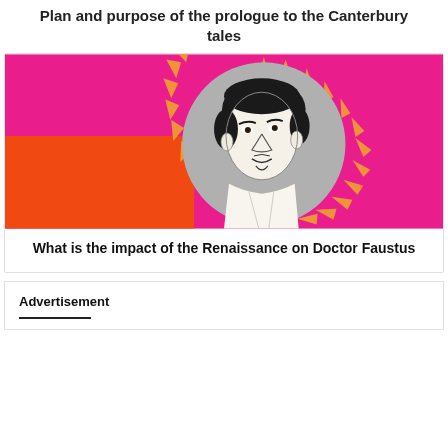Plan and purpose of the prologue to the Canterbury tales
[Figure (illustration): Illustrated portrait of a Renaissance-era man (Christopher Marlowe style) in black and white line art, centered in a gray circle with decorative orange mandala/sunburst border. Background is hot pink magenta on top half and orange-red on lower left.]
What is the impact of the Renaissance on Doctor Faustus
Advertisement